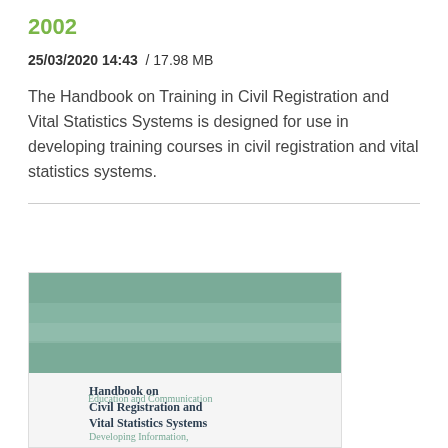2002
25/03/2020 14:43  / 17.98 MB
The Handbook on Training in Civil Registration and Vital Statistics Systems is designed for use in developing training courses in civil registration and vital statistics systems.
[Figure (photo): Book cover of 'Handbook on Civil Registration and Vital Statistics Systems: Developing Information, Education and Communication' with a teal/green upper section and white lower section showing the title text.]